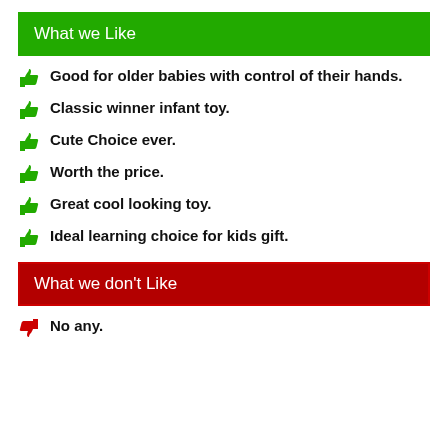What we Like
Good for older babies with control of their hands.
Classic winner infant toy.
Cute Choice ever.
Worth the price.
Great cool looking toy.
Ideal learning choice for kids gift.
What we don't Like
No any.